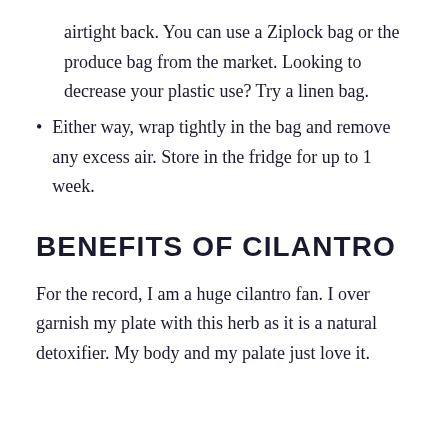airtight back. You can use a Ziplock bag or the produce bag from the market. Looking to decrease your plastic use? Try a linen bag.
Either way, wrap tightly in the bag and remove any excess air. Store in the fridge for up to 1 week.
BENEFITS OF CILANTRO
For the record, I am a huge cilantro fan. I over garnish my plate with this herb as it is a natural detoxifier. My body and my palate just love it.